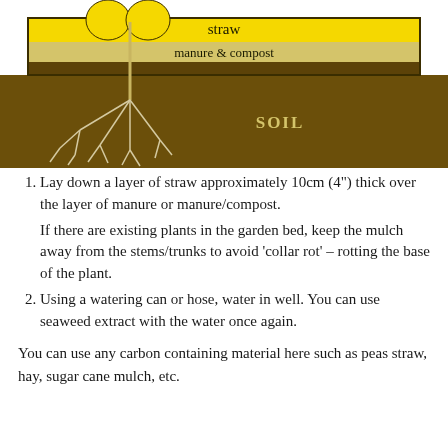[Figure (schematic): Cross-section diagram of garden bed layers showing: yellow straw layer on top, light yellow manure & compost layer below it, dark brown soil layer at the bottom, with a plant stem and root system illustrated on the left side]
Lay down a layer of straw approximately 10cm (4") thick over the layer of manure or manure/compost. If there are existing plants in the garden bed, keep the mulch away from the stems/trunks to avoid ‘collar rot’ – rotting the base of the plant.
Using a watering can or hose, water in well. You can use seaweed extract with the water once again.
You can use any carbon containing material here such as peas straw, hay, sugar cane mulch, etc.